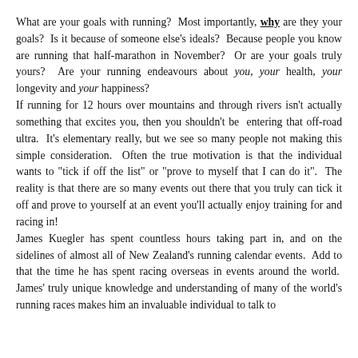What are your goals with running? Most importantly, why are they your goals? Is it because of someone else's ideals? Because people you know are running that half-marathon in November? Or are your goals truly yours? Are your running endeavours about you, your health, your longevity and your happiness?
If running for 12 hours over mountains and through rivers isn't actually something that excites you, then you shouldn't be entering that off-road ultra. It's elementary really, but we see so many people not making this simple consideration. Often the true motivation is that the individual wants to "tick if off the list" or "prove to myself that I can do it". The reality is that there are so many events out there that you truly can tick it off and prove to yourself at an event you'll actually enjoy training for and racing in!
James Kuegler has spent countless hours taking part in, and on the sidelines of almost all of New Zealand's running calendar events. Add to that the time he has spent racing overseas in events around the world. James' truly unique knowledge and understanding of many of the world's running races makes him an invaluable individual to talk to